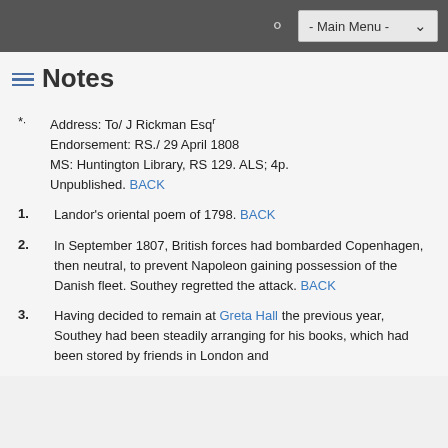- Main Menu -
Notes
Address: To/ J Rickman Esq^r
Endorsement: RS./ 29 April 1808
MS: Huntington Library, RS 129. ALS; 4p.
Unpublished. BACK
1. Landor's oriental poem of 1798. BACK
2. In September 1807, British forces had bombarded Copenhagen, then neutral, to prevent Napoleon gaining possession of the Danish fleet. Southey regretted the attack. BACK
3. Having decided to remain at Greta Hall the previous year, Southey had been steadily arranging for his books, which had been stored by friends in London and